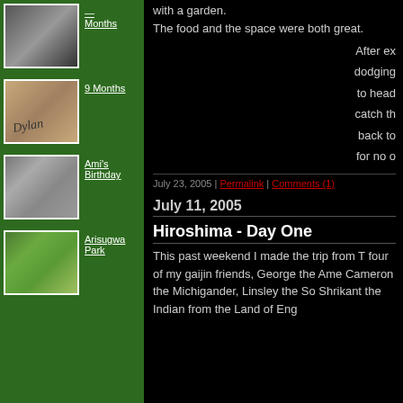[Figure (photo): Baby being held close to adult face]
Months
[Figure (photo): Baby wearing hoodie with Dylan written on back]
9 Months
[Figure (photo): People standing outside building]
Ami's Birthday
[Figure (photo): Child on bicycle in park]
Arisugwa Park
with a garden.
The food and the space were both great.
After ex dodging to head catch th back to for no o
July 23, 2005 | Permalink | Comments (1)
July 11, 2005
Hiroshima - Day One
This past weekend I made the trip from T four of my gaijin friends, George the Ame Cameron the Michigander, Linsley the So Shrikant the Indian from the Land of Eng